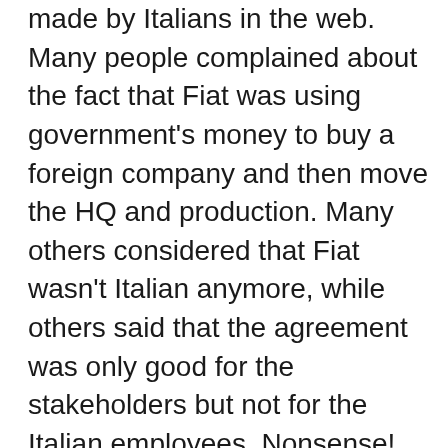made by Italians in the web. Many people complained about the fact that Fiat was using government's money to buy a foreign company and then move the HQ and production. Many others considered that Fiat wasn't Italian anymore, while others said that the agreement was only good for the stakeholders but not for the Italian employees. Nonsense! the deal with VEBA means that Fiat is finally a global player! it means that it is no longer dependent on the troubled Italian car market. It means that the new group includes strong and global brands such as Jeep (the world's largest SUV-maker). A lot of research and development savings will come. Common technologies and expertise.